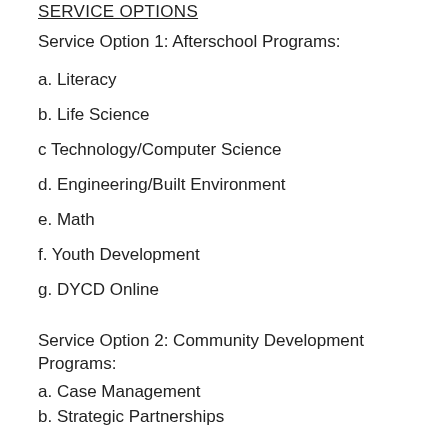SERVICE OPTIONS
Service Option 1: Afterschool Programs:
a. Literacy
b. Life Science
c Technology/Computer Science
d. Engineering/Built Environment
e. Math
f. Youth Development
g. DYCD Online
Service Option 2: Community Development Programs:
a. Case Management
b. Strategic Partnerships
c. Workforce Development
d. Measuring and Using Outcomes